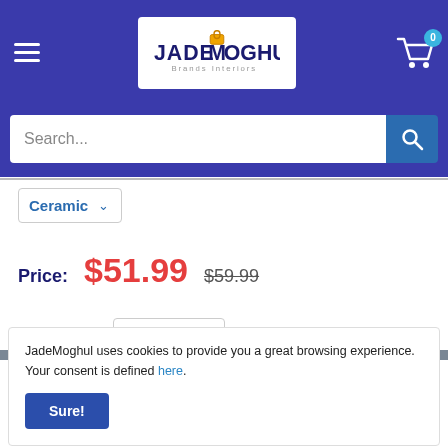JadeMoghul header with logo, hamburger menu, and cart
Search...
Ceramic ▾
Price: $51.99  $59.99
Quantity: 1
JadeMoghul uses cookies to provide you a great browsing experience. Your consent is defined here.
Sure!